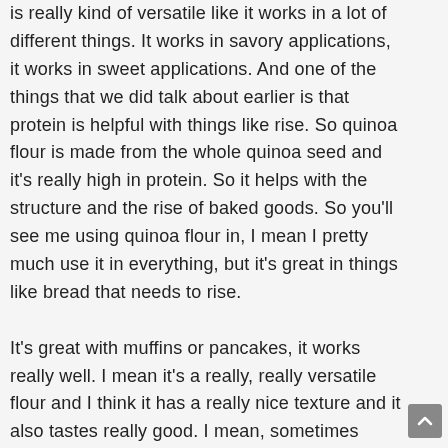is really kind of versatile like it works in a lot of different things. It works in savory applications, it works in sweet applications. And one of the things that we did talk about earlier is that protein is helpful with things like rise. So quinoa flour is made from the whole quinoa seed and it's really high in protein. So it helps with the structure and the rise of baked goods. So you'll see me using quinoa flour in, I mean I pretty much use it in everything, but it's great in things like bread that needs to rise.

It's great with muffins or pancakes, it works really well. I mean it's a really, really versatile flour and I think it has a really nice texture and it also tastes really good. I mean, sometimes people